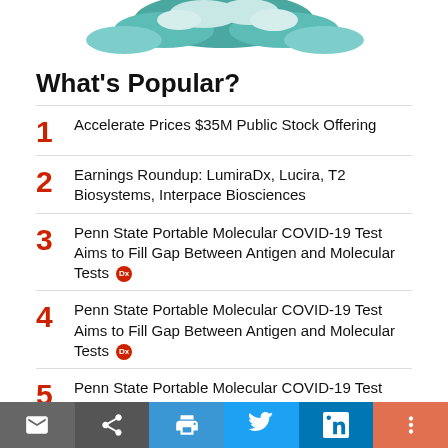[Figure (illustration): Partial cloud/sky illustration at top of page]
What's Popular?
1  Accelerate Prices $35M Public Stock Offering
2  Earnings Roundup: LumiraDx, Lucira, T2 Biosystems, Interpace Biosciences
3  Penn State Portable Molecular COVID-19 Test Aims to Fill Gap Between Antigen and Molecular Tests
4  Penn State Portable Molecular COVID-19 Test Aims to Fill Gap Between Antigen and Molecular Tests
5  Penn State Portable Molecular COVID-19 Test Aims to Fill Gap Between Antigen and Molecular Tests
Social share bar: email, share, print, twitter, linkedin, more